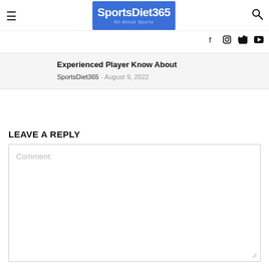SportsDiet365 — All About Sports
Experienced Player Know About
SportsDiet365 - August 9, 2022
LEAVE A REPLY